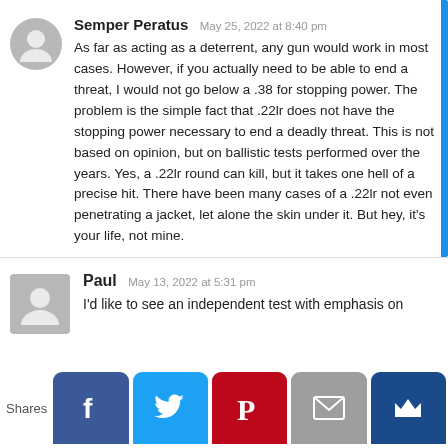Semper Peratus May 25, 2022 at 8:40 pm
As far as acting as a deterrent, any gun would work in most cases. However, if you actually need to be able to end a threat, I would not go below a .38 for stopping power. The problem is the simple fact that .22lr does not have the stopping power necessary to end a deadly threat. This is not based on opinion, but on ballistic tests performed over the years. Yes, a .22lr round can kill, but it takes one hell of a precise hit. There have been many cases of a .22lr not even penetrating a jacket, let alone the skin under it. But hey, it's your life, not mine.
Paul May 13, 2022 at 5:31 pm
I'd like to see an independent test with emphasis on
Shares